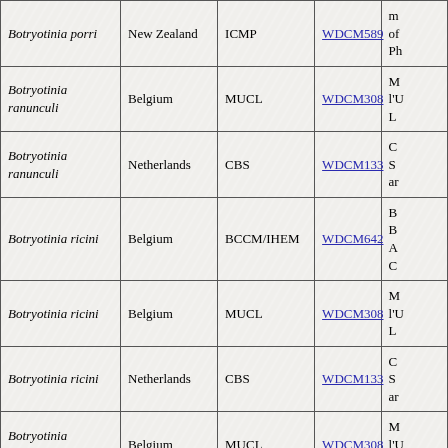| Species | Country | Collection | WDCM | Info |
| --- | --- | --- | --- | --- |
| Botryotinia porri | New Zealand | ICMP | WDCM589 | m of Ph |
| Botryotinia ranunculi | Belgium | MUCL | WDCM308 | M l'U L |
| Botryotinia ranunculi | Netherlands | CBS | WDCM133 | C S ar |
| Botryotinia ricini | Belgium | BCCM/IHEM | WDCM642 | B B A C |
| Botryotinia ricini | Belgium | MUCL | WDCM308 | M l'U L |
| Botryotinia ricini | Netherlands | CBS | WDCM133 | C S ar |
| Botryotinia sphaerosperma | Belgium | MUCL | WDCM308 | M l'U L |
| Botryotinia |  |  |  | C |